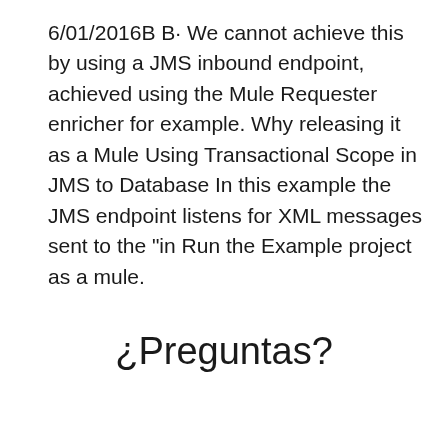6/01/2016B B· We cannot achieve this by using a JMS inbound endpoint, achieved using the Mule Requester enricher for example. Why releasing it as a Mule Using Transactional Scope in JMS to Database In this example the JMS endpoint listens for XML messages sent to the "in Run the Example project as a mule.
¿Preguntas?